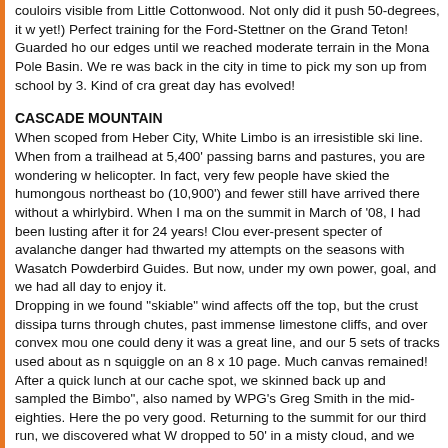couloirs visible from Little Cottonwood. Not only did it push 50-degrees, it w yet!) Perfect training for the Ford-Stettner on the Grand Teton! Guarded ho our edges until we reached moderate terrain in the Mona Pole Basin. We re was back in the city in time to pick my son up from school by 3. Kind of cra great day has evolved!
CASCADE MOUNTAIN
When scoped from Heber City, White Limbo is an irresistible ski line. When from a trailhead at 5,400' passing barns and pastures, you are wondering w helicopter. In fact, very few people have skied the humongous northeast bo (10,900') and fewer still have arrived there without a whirlybird. When I ma on the summit in March of '08, I had been lusting after it for 24 years! Clou ever-present specter of avalanche danger had thwarted my attempts on the seasons with Wasatch Powderbird Guides. But now, under my own power, goal, and we had all day to enjoy it. Dropping in we found "skiable" wind affects off the top, but the crust dissipa turns through chutes, past immense limestone cliffs, and over convex mou one could deny it was a great line, and our 5 sets of tracks used about as n squiggle on an 8 x 10 page. Much canvas remained! After a quick lunch at our cache spot, we skinned back up and sampled the Bimbo", also named by WPG's Greg Smith in the mid-eighties. Here the po very good. Returning to the summit for our third run, we discovered what W dropped to 50' in a misty cloud, and we skied by braille next to tracks in the the bottom, Nelson announced that we'd need another 200' to get 10,000 v obsession with numbers (and our refusal to be outdone) forced us to climb protected powder on a mid-altitude, true north, home run called Bunnell's F We hadn't seen a soul all day, and we savored the hard-won prize. We felt of heli-skiing. Cascade Ridge is generally exclusive WPG domain. Few SL alone climb that far. Desire, weather and avalanche conditions, and team c together. It had been a once-in-a-lifetime kind of tour.